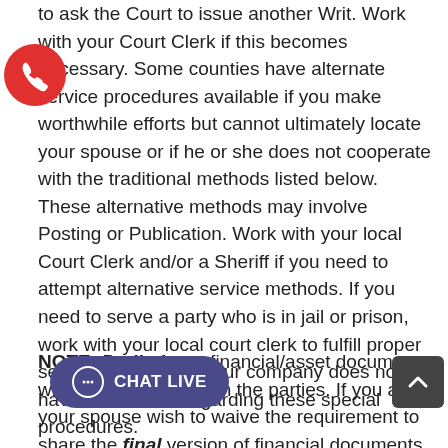to ask the Court to issue another Writ. Work with your Court Clerk if this becomes necessary. Some counties have alternate service procedures available if you make worthwhile efforts but cannot ultimately locate your spouse or if he or she does not cooperate with the traditional methods listed below. These alternative methods may involve Posting or Publication. Work with your local Court Clerk and/or a Sheriff if you need to attempt alternative service methods. If you need to serve a party who is in jail or prison, work with your local court clerk to fulfill proper service procedures. Our company does not have information regarding these special procedures.
NOTE: Preliminary financial/asset documents will be shared between the parties. If you and your spouse wish to waive the requirement to share the final version of financial documents, sign the Stipulation and Waiver of Final